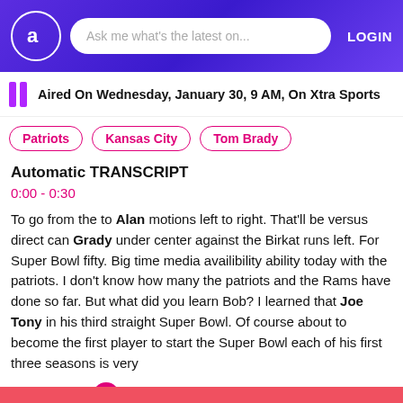Ask me what's the latest on... LOGIN
Aired On Wednesday, January 30, 9 AM, On Xtra Sports
Patriots
Kansas City
Tom Brady
Automatic TRANSCRIPT
0:00 - 0:30
To go from the to Alan motions left to right. That'll be versus direct can Grady under center against the Birkat runs left. For Super Bowl fifty. Big time media availibility ability today with the patriots. I don't know how many the patriots and the Rams have done so far. But what did you learn Bob? I learned that Joe Tony in his third straight Super Bowl. Of course about to become the first player to start the Super Bowl each of his first three seasons is very
Show More